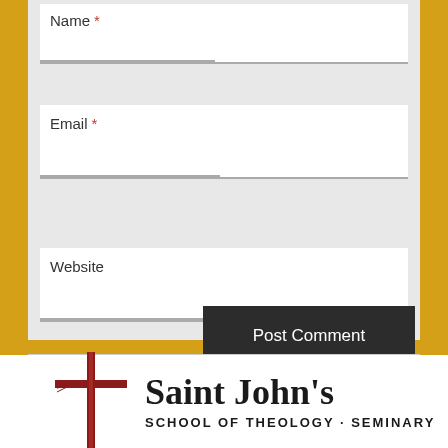[Figure (screenshot): Partial web form with Name, Email, Website fields and Post Comment button on a gray background]
[Figure (logo): Saint John's School of Theology Seminary logo with red cross icon]